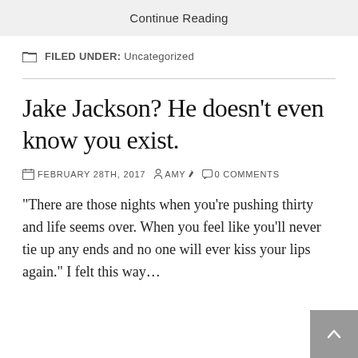Continue Reading
FILED UNDER: Uncategorized
Jake Jackson? He doesn't even know you exist.
FEBRUARY 28TH, 2017  AMY  0 COMMENTS
"There are those nights when you're pushing thirty and life seems over. When you feel like you'll never tie up any ends and no one will ever kiss your lips again." I felt this way…